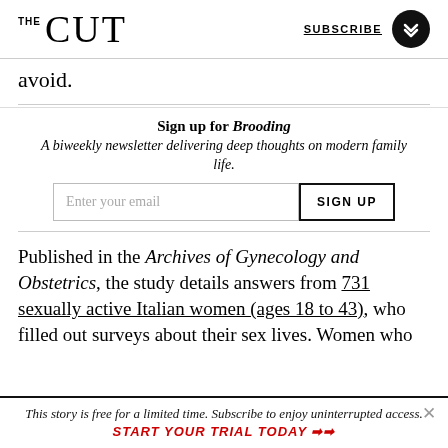THE CUT | SUBSCRIBE
avoid.
Sign up for Brooding
A biweekly newsletter delivering deep thoughts on modern family life.
Published in the Archives of Gynecology and Obstetrics, the study details answers from 731 sexually active Italian women (ages 18 to 43), who filled out surveys about their sex lives. Women who
This story is free for a limited time. Subscribe to enjoy uninterrupted access. START YOUR TRIAL TODAY